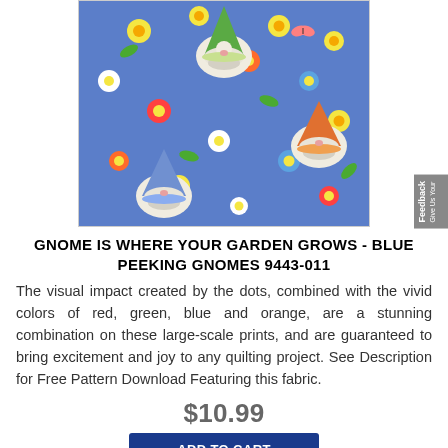[Figure (photo): Fabric print featuring gnomes peeking through colorful flowers (red, orange, yellow, blue, white) on a blue dotted background with bees, butterflies, and ladybugs.]
GNOME IS WHERE YOUR GARDEN GROWS - BLUE PEEKING GNOMES 9443-011
The visual impact created by the dots, combined with the vivid colors of red, green, blue and orange, are a stunning combination on these large-scale prints, and are guaranteed to bring excitement and joy to any quilting project. See Description for Free Pattern Download Featuring this fabric.
$10.99